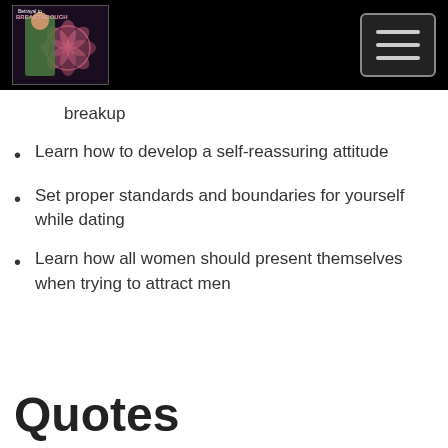Betrayal to Breakthrough logo and navigation
breakup
Learn how to develop a self-reassuring attitude
Set proper standards and boundaries for yourself while dating
Learn how all women should present themselves when trying to attract men
Quotes